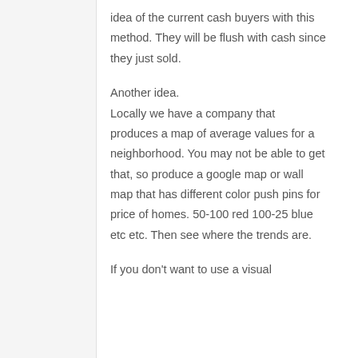idea of the current cash buyers with this method. They will be flush with cash since they just sold.
Another idea.
Locally we have a company that produces a map of average values for a neighborhood. You may not be able to get that, so produce a google map or wall map that has different color push pins for price of homes. 50-100 red 100-25 blue etc etc. Then see where the trends are.
If you don't want to use a visual